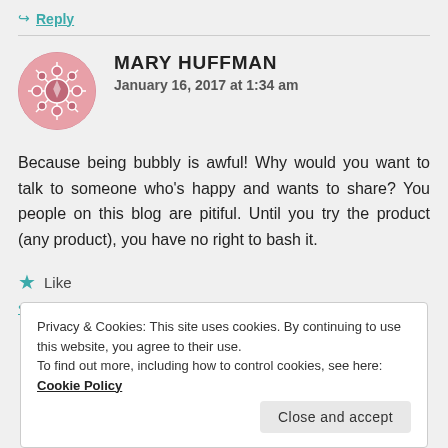↪ Reply
MARY HUFFMAN
January 16, 2017 at 1:34 am
Because being bubbly is awful! Why would you want to talk to someone who's happy and wants to share? You people on this blog are pitiful. Until you try the product (any product), you have no right to bash it.
★ Like
Privacy & Cookies: This site uses cookies. By continuing to use this website, you agree to their use.
To find out more, including how to control cookies, see here: Cookie Policy
Close and accept